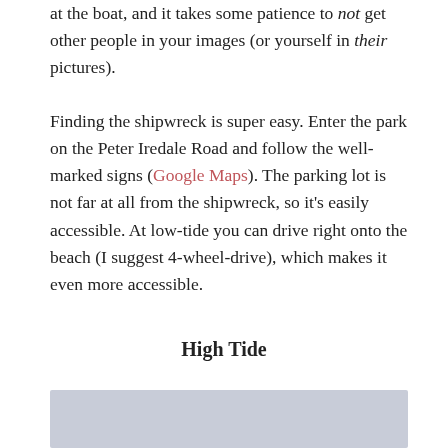at the boat, and it takes some patience to not get other people in your images (or yourself in their pictures).
Finding the shipwreck is super easy. Enter the park on the Peter Iredale Road and follow the well-marked signs (Google Maps). The parking lot is not far at all from the shipwreck, so it's easily accessible. At low-tide you can drive right onto the beach (I suggest 4-wheel-drive), which makes it even more accessible.
High Tide
[Figure (photo): Partial view of a photo, likely of the beach or shipwreck at high tide, showing a grayish-blue sky or water area.]